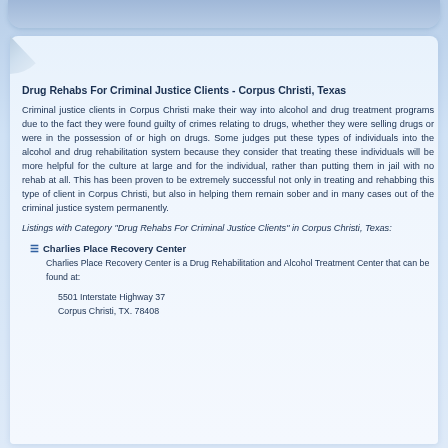Drug Rehabs For Criminal Justice Clients - Corpus Christi, Texas
Criminal justice clients in Corpus Christi make their way into alcohol and drug treatment programs due to the fact they were found guilty of crimes relating to drugs, whether they were selling drugs or were in the possession of or high on drugs. Some judges put these types of individuals into the alcohol and drug rehabilitation system because they consider that treating these individuals will be more helpful for the culture at large and for the individual, rather than putting them in jail with no rehab at all. This has been proven to be extremely successful not only in treating and rehabbing this type of client in Corpus Christi, but also in helping them remain sober and in many cases out of the criminal justice system permanently.
Listings with Category "Drug Rehabs For Criminal Justice Clients" in Corpus Christi, Texas:
Charlies Place Recovery Center
Charlies Place Recovery Center is a Drug Rehabilitation and Alcohol Treatment Center that can be found at:
5501 Interstate Highway 37
Corpus Christi, TX. 78408